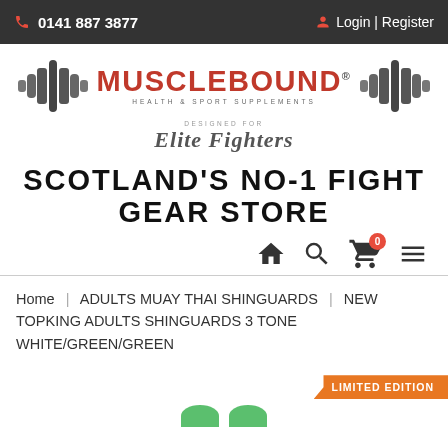0141 887 3877  |  Login | Register
[Figure (logo): Musclebound Health & Sport Supplements logo with barbell graphic and 'Designed for Elite Fighters' subtitle]
SCOTLAND'S NO-1 FIGHT GEAR STORE
[Figure (infographic): Navigation icons: home, search, shopping cart with 0 badge, hamburger menu]
Home | ADULTS MUAY THAI SHINGUARDS | NEW TOPKING ADULTS SHINGUARDS 3 TONE WHITE/GREEN/GREEN
[Figure (infographic): LIMITED EDITION badge in orange, product image partially visible at bottom]